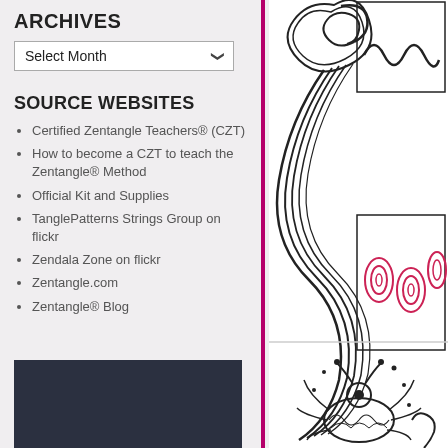ARCHIVES
Select Month
SOURCE WEBSITES
Certified Zentangle Teachers® (CZT)
How to become a CZT to teach the Zentangle® Method
Official Kit and Supplies
TanglePatterns Strings Group on flickr
Zendala Zone on flickr
Zentangle.com
Zentangle® Blog
[Figure (illustration): Zentangle pattern drawings: flowing S-curve swirl pattern at left, small wavy line diagram top right, oval spiral pattern with pink/red accents middle right, and decorative bug/insect zentangle pattern at bottom right]
[Figure (illustration): Dark navy/charcoal colored box at bottom left of sidebar]